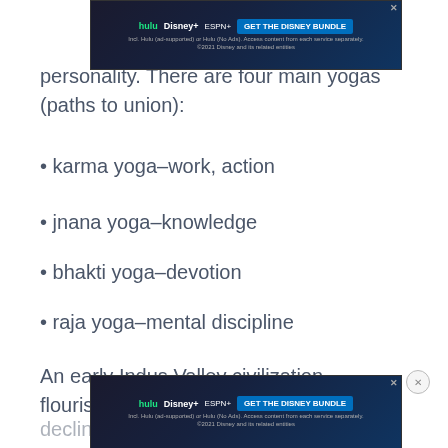personality. There are four main yogas (paths to union):
karma yoga–work, action
jnana yoga–knowledge
bhakti yoga–devotion
raja yoga–mental discipline
An early Indus Valley civilization flourished until 1700 B.C.E. but was in decline by the time the nomadic Aryans migrated from the northwest around 1500 B.C.E. The Aryans...